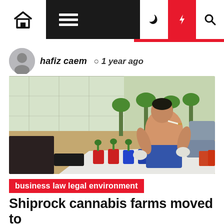Navigation bar with home, menu, dark mode, lightning, and search icons
hafiz caem  1 year ago
[Figure (photo): A shirtless man crouching in a greenhouse, working with small cannabis plants in colorful red, blue, and green cups on a white tarp. Background shows more plants and greenhouse structure.]
business law legal environment
Shiprock cannabis farms moved to